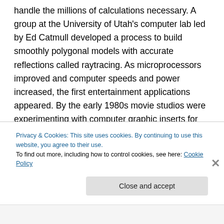handle the millions of calculations necessary. A group at the University of Utah's computer lab led by Ed Catmull developed a process to build smoothly polygonal models with accurate reflections called raytracing. As microprocessors improved and computer speeds and power increased, the first entertainment applications appeared. By the early 1980s movie studios were experimenting with computer graphic inserts for special effects. Disney's Tron brought complete scenes designed and rendered in 3D, followed by even more photorealistic effects in The Last Starfighter with complete Cad...
Privacy & Cookies: This site uses cookies. By continuing to use this website, you agree to their use. To find out more, including how to control cookies, see here: Cookie Policy
Close and accept